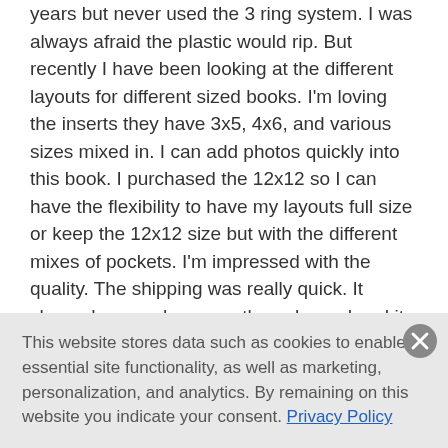years but never used the 3 ring system. I was always afraid the plastic would rip. But recently I have been looking at the different layouts for different sized books. I'm loving the inserts they have 3x5, 4x6, and various sizes mixed in. I can add photos quickly into this book. I purchased the 12x12 so I can have the flexibility to have my layouts full size or keep the 12x12 size but with the different mixes of pockets. I'm impressed with the quality. The shipping was really quick. It showed up much sooner than planned and it was all in one box instead of multiple shipping boxes. I've ordered from here before and will continue
This website stores data such as cookies to enable essential site functionality, as well as marketing, personalization, and analytics. By remaining on this website you indicate your consent. Privacy Policy